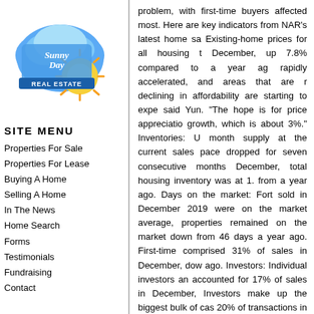[Figure (logo): Sunny Day Real Estate logo — cloud shape with sun, text 'Sunny Day REAL ESTATE']
SITE MENU
Properties For Sale
Properties For Lease
Buying A Home
Selling A Home
In The News
Home Search
Forms
Testimonials
Fundraising
Contact
problem, with first-time buyers affected most. Here are key indicators from NAR's latest home sales report: Existing-home prices for all housing types rose in December, up 7.8% compared to a year ago. Prices have rapidly accelerated, and areas that are most rapidly declining in affordability are starting to experience, said Yun. "The hope is for price appreciation to slow to growth, which is about 3%." Inventories: U month supply at the current sales pace, dropped for seven consecutive months December, total housing inventory was at 1. from a year ago. Days on the market: Forth sold in December 2019 were on the market average, properties remained on the market down from 46 days a year ago. First-time comprised 31% of sales in December, down ago. Investors: Individual investors an accounted for 17% of sales in December, Investors make up the biggest bulk of cash 20% of transactions in December. Distresse short sales represented just 2% of sales from a year ago.